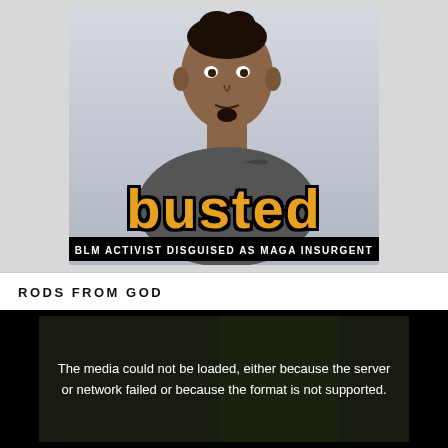[Figure (photo): Meme image showing a young man wearing a gray Nike shirt against a light background, overlaid with large gold/yellow text reading 'busted' in bold letters with black outline, and a subtitle bar reading 'BLM ACTIVIST DISGUISED AS MAGA INSURGENT' in white text on black background.]
RODS FROM GOD
[Figure (screenshot): Video player showing error message: 'The media could not be loaded, either because the server or network failed or because the format is not supported.' Dark background with slight greenish tint.]